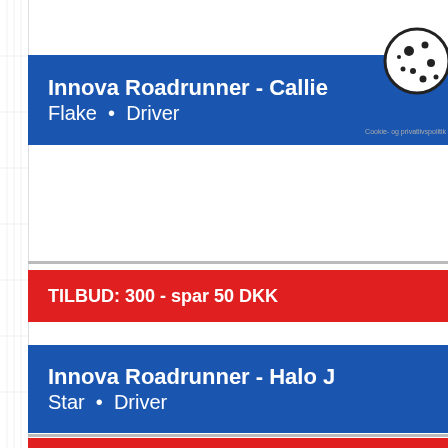Innova Roadrunner - Callie • Flake • Driver
[Figure (other): Cookie consent icon overlay in top right area]
Cookie- og privatlivspolitik
TILBUD: 300 - spar 50 DKK
Innova Roadrunner - Halo J • Star • Driver